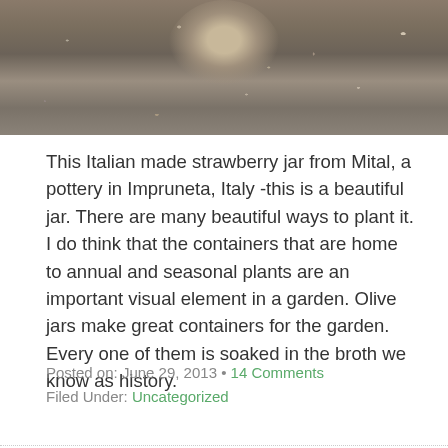[Figure (photo): Partial photo showing gravel/stone ground with what appears to be the base of a pottery jar visible at top]
This Italian made strawberry jar from Mital, a pottery in Impruneta, Italy -this is a beautiful jar.  There are many beautiful ways to plant it.  I do think that the containers that are home to annual and seasonal plants are an important visual element in a garden.  Olive jars make great containers for the garden.  Every one of them is soaked in the broth we know as history.
Posted on: June 29, 2013 • 14 Comments
Filed Under: Uncategorized